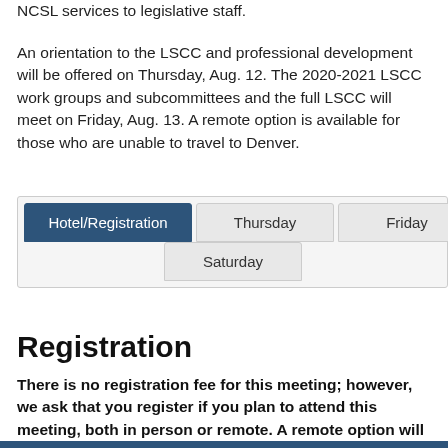NCSL services to legislative staff.
An orientation to the LSCC and professional development will be offered on Thursday, Aug. 12. The 2020-2021 LSCC work groups and subcommittees and the full LSCC will meet on Friday, Aug. 13. A remote option is available for those who are unable to travel to Denver.
| Hotel/Registration | Thursday | Friday |
| --- | --- | --- |
|  | Saturday |  |
Registration
There is no registration fee for this meeting; however, we ask that you register if you plan to attend this meeting, both in person or remote. A remote option will be available for those who